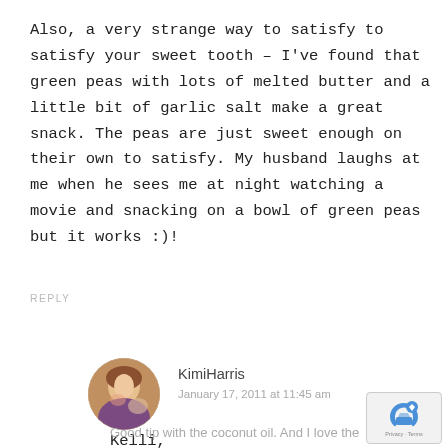Also, a very strange way to satisfy to satisfy your sweet tooth – I've found that green peas with lots of melted butter and a little bit of garlic salt make a great snack. The peas are just sweet enough on their own to satisfy. My husband laughs at me when he sees me at night watching a movie and snacking on a bowl of green peas but it works :)!
REPLY
KimiHarris
January 17, 2011 at 11:45 am
Kelli,
Good tip with the coconut oil. And I love the